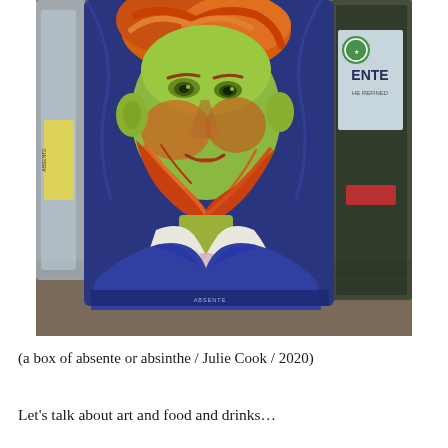[Figure (photo): A photograph of a colorful decorative tin/box of Absente absinthe liqueur featuring a vibrant pop-art style portrait of Vincent van Gogh with orange beard and hair, green face tones, wearing a blue jacket. Other bottles visible in the background on a granite countertop.]
(a box of absente or absinthe / Julie Cook / 2020)
Let's talk about art and food and drinks…